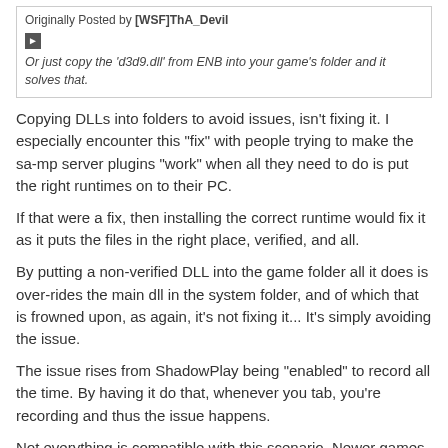Originally Posted by [WSF]ThA_Devil
▶ Or just copy the 'd3d9.dll' from ENB into your game's folder and it solves that.
Copying DLLs into folders to avoid issues, isn't fixing it. I especially encounter this "fix" with people trying to make the sa-mp server plugins "work" when all they need to do is put the right runtimes on to their PC.
If that were a fix, then installing the correct runtime would fix it as it puts the files in the right place, verified, and all.
By putting a non-verified DLL into the game folder all it does is over-rides the main dll in the system folder, and of which that is frowned upon, as again, it's not fixing it... It's simply avoiding the issue.
The issue rises from ShadowPlay being "enabled" to record all the time. By having it do that, whenever you tab, you're recording and thus the issue happens.
Not everything is compatible with this scenario. Newer games don't have the same issue.